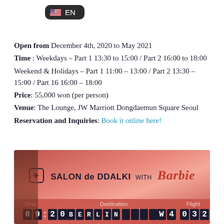[Figure (screenshot): Dark rounded button with US flag emoji and EN text]
Open from December 4th, 2020 to May 2021
Time : Weekdays – Part 1 13:30 to 15:00 / Part 2 16:00 to 18:00
Weekend & Holidays – Part 1 11:00 – 13:00 / Part 2 13:30 – 15:00 / Part 16 16:00 – 18:00
Price: 55,000 won (per person)
Venue: The Lounge, JW Marriott Dongdaemun Square Seoul
Reservation and Inquiries: Book it online here!
[Figure (photo): Photo of a pink airport-style departure board sign reading SALON de DDALKI with Barbie, showing time 09:20, destination BERLIN, flight W4 0328]